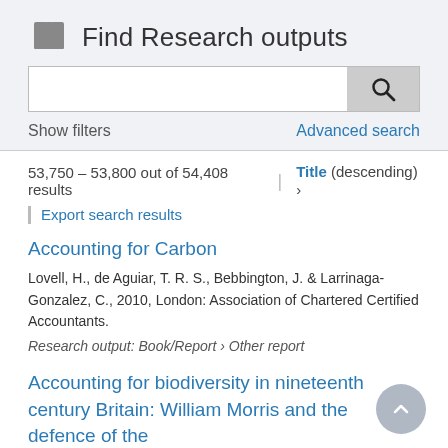Find Research outputs
Show filters
Advanced search
53,750 – 53,800 out of 54,408 results
Title (descending) ›
Export search results
Accounting for Carbon
Lovell, H., de Aguiar, T. R. S., Bebbington, J. & Larrinaga-Gonzalez, C., 2010, London: Association of Chartered Certified Accountants.
Research output: Book/Report › Other report
Accounting for biodiversity in nineteenth century Britain: William Morris and the defence of the